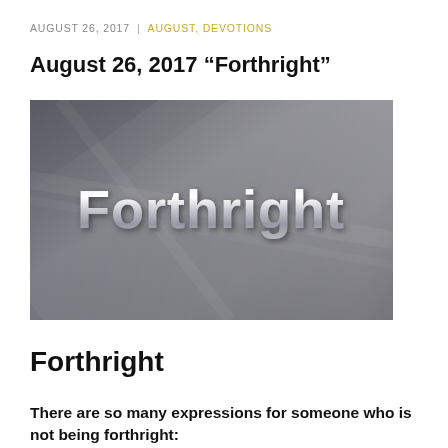AUGUST 26, 2017 | AUGUST, DEVOTIONS
August 26, 2017 “Forthright”
[Figure (photo): Dark grey metallic background with diagonal light streaks and the word 'Forthright' written in silver metallic 3D lettering centered in the image.]
Forthright
There are so many expressions for someone who is not being forthright: